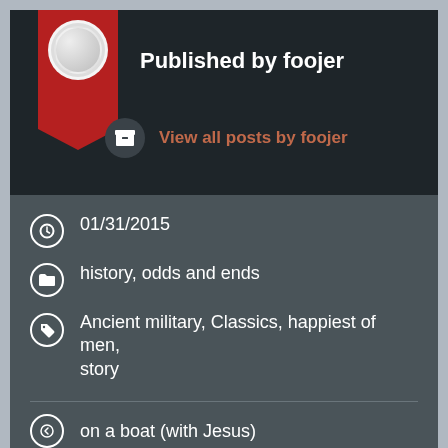Published by foojer
View all posts by foojer
01/31/2015
history, odds and ends
Ancient military, Classics, happiest of men, story
on a boat (with Jesus)
sacrifice pt 3: the freedom of Verginia